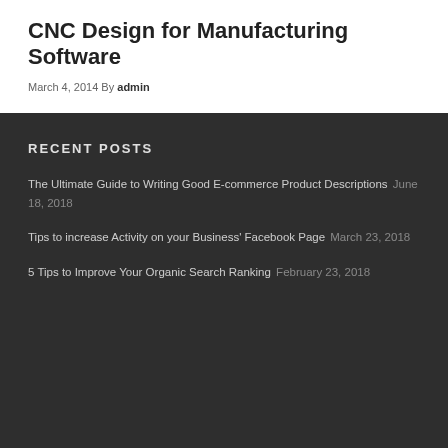CNC Design for Manufacturing Software
March 4, 2014 By admin
RECENT POSTS
The Ultimate Guide to Writing Good E-commerce Product Descriptions June 18, 2018
Tips to increase Activity on your Business' Facebook Page March 23, 2018
5 Tips to Improve Your Organic Search Ranking February 23, 2018